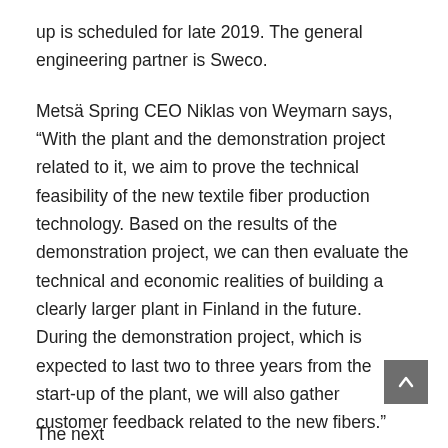up is scheduled for late 2019. The general engineering partner is Sweco.
Metsä Spring CEO Niklas von Weymarn says, “With the plant and the demonstration project related to it, we aim to prove the technical feasibility of the new textile fiber production technology. Based on the results of the demonstration project, we can then evaluate the technical and economic realities of building a clearly larger plant in Finland in the future. During the demonstration project, which is expected to last two to three years from the start-up of the plant, we will also gather customer feedback related to the new fibers.”
The next page has text displayed for the...